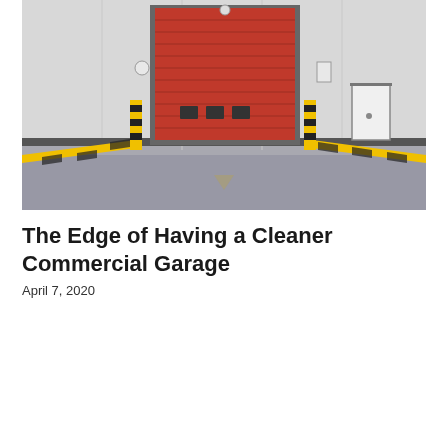[Figure (photo): Exterior of a commercial warehouse/garage facility with a large red roll-up door centered on a grey metal wall, yellow and black striped bollards on either side, a small white door to the right, and grey concrete pavement in the foreground.]
The Edge of Having a Cleaner Commercial Garage
April 7, 2020